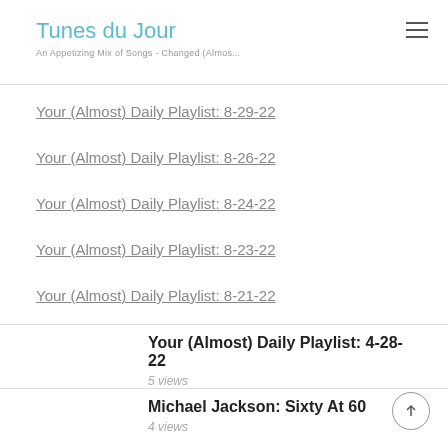Tunes du Jour
An Appetizing Mix of Songs - Changed (Almos...
Your (Almost) Daily Playlist: 8-29-22
Your (Almost) Daily Playlist: 8-26-22
Your (Almost) Daily Playlist: 8-24-22
Your (Almost) Daily Playlist: 8-23-22
Your (Almost) Daily Playlist: 8-21-22
Your (Almost) Daily Playlist: 4-28-22
5 views
Michael Jackson: Sixty At 60
4 views